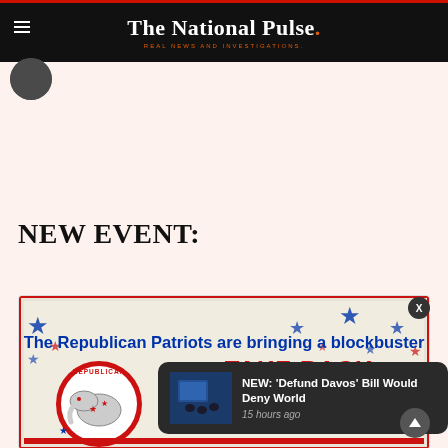The National Pulse. REAL NEWS AND INVESTIGATIONS.
NEW EVENT:
[Figure (illustration): Republican Patriots 'Take Back' event promotional banner showing Republican elephant logo with stars, text: 'The Republican Patriots are bringing a blockbuster TAKE BACK to Charlotte!']
NEW: 'Defund Davos' Bill Would Deny World
15 hours ago